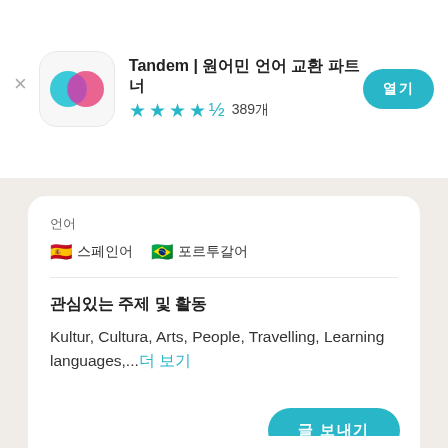Tandem | 원어민 언어 교환 파트너
★★★★½ 389개
열기
언어
🇪🇸 스페인어  🇧🇷 포르투갈어
원어민과의 주제
Kultur, Cultura, Arts, People, Travelling, Learning languages,...더 보기
글 보내기
Christian
Ludwigshafen